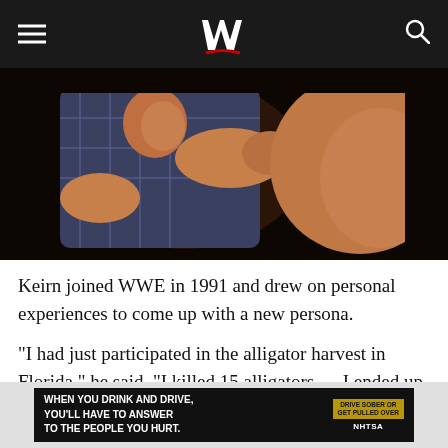WWE navigation header with hamburger menu, WWE logo, and search icon
[Figure (photo): Two wrestlers grappling; one in a plaid shirt grabbing the other]
Keirn joined WWE in 1991 and drew on personal experiences to come up with a new persona.
“I had just participated in the alligator harvest in Florida,” he said. “I killed 15 alligators … I ended up with a record, killing 10 more than 12 feet long.”
He took that expertise with him into his first meeting with WWE Chairman Mr. McMahon.
[Figure (infographic): Ad banner: WHEN YOU DRINK AND DRIVE, YOU'LL HAVE TO ANSWER TO THE PEOPLE YOU HURT. Drive Sober or Get Pulled Over / NHTSA]